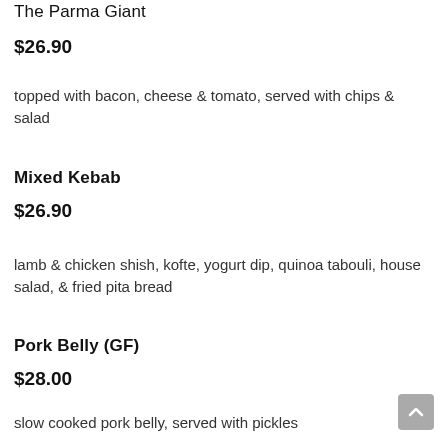The Parma Giant
$26.90
topped with bacon, cheese & tomato, served with chips & salad
Mixed Kebab
$26.90
lamb & chicken shish, kofte, yogurt dip, quinoa tabouli, house salad, & fried pita bread
Pork Belly (GF)
$28.00
slow cooked pork belly, served with pickles...